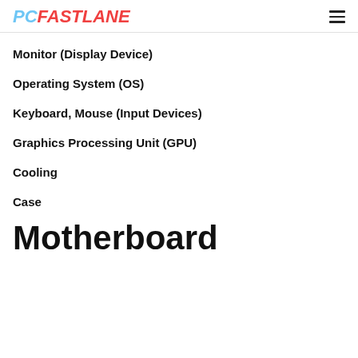PCFASTLANE
Monitor (Display Device)
Operating System (OS)
Keyboard, Mouse (Input Devices)
Graphics Processing Unit (GPU)
Cooling
Case
Motherboard